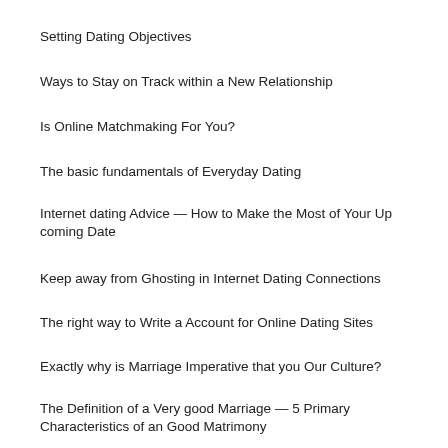Setting Dating Objectives
Ways to Stay on Track within a New Relationship
Is Online Matchmaking For You?
The basic fundamentals of Everyday Dating
Internet dating Advice — How to Make the Most of Your Up coming Date
Keep away from Ghosting in Internet Dating Connections
The right way to Write a Account for Online Dating Sites
Exactly why is Marriage Imperative that you Our Culture?
The Definition of a Very good Marriage — 5 Primary Characteristics of an Good Matrimony